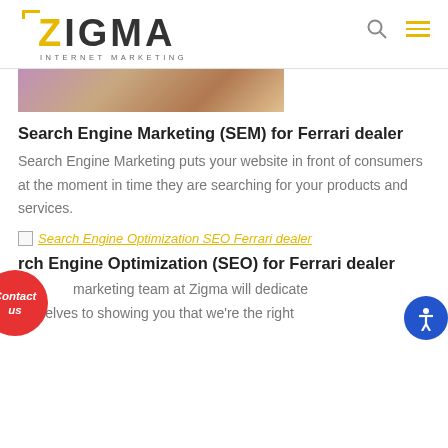ZIGMA INTERNET MARKETING
[Figure (photo): Partial hero image strip showing office/marketing materials]
Search Engine Marketing (SEM) for Ferrari dealer
Search Engine Marketing puts your website in front of consumers at the moment in time they are searching for your products and services.
[Figure (screenshot): Broken image placeholder with link text: Search Engine Optimization SEO Ferrari dealer]
rch Engine Optimization (SEO) for Ferrari dealer
marketing team at Zigma will dedicate ourselves to showing you that we're the right